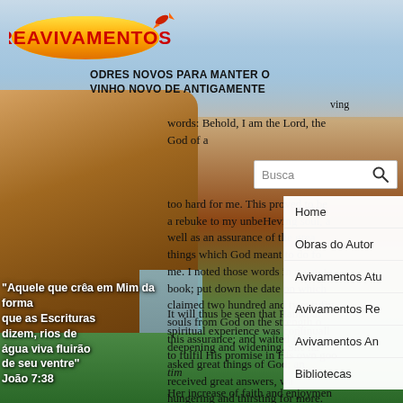[Figure (screenshot): Website screenshot of Reavivamentos religious website with background of canyon/waterfall landscape. Shows logo, navigation menu, search bar, article text in English and Portuguese quote overlay.]
REAVIVAMENTOS
ODRES NOVOS PARA MANTER O VINHO NOVO DE ANTIGAMENTE
words: Behold, I am the Lord, the God of a... too hard for me. This proved to be a rebuke to my unbelieving soul, as well as an assurance of the great things which God meant to do for me. I noted those words in my note book; put down the date on which claimed two hundred and twentyfiv souls from God on the strength of this assurance; and waited for Him to fulfil His promise in His own goo tim
It will thus be seen that Ramabal spiritual experience was continually deepening and widening. She had asked great things of God; and received great answers, was hungering and thirsting for more.
Her increase of faith and enjoyment
“Aquele que crê em Mim da forma que as Escrituras dizem, rios de água viva fluirão de seu ventre” João 7:38
[Figure (screenshot): Navigation menu with items: Home, Obras do Autor, Avivamentos Atu..., Avivamentos Re..., Avivamentos An..., Bibliotecas]
[Figure (screenshot): Search bar with text 'Busca' and magnifying glass icon]